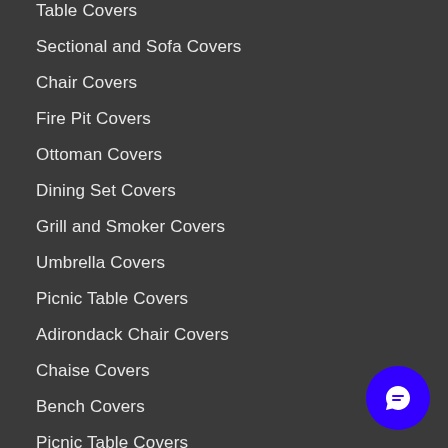Table Covers
Sectional and Sofa Covers
Chair Covers
Fire Pit Covers
Ottoman Covers
Dining Set Covers
Grill and Smoker Covers
Umbrella Covers
Picnic Table Covers
Adirondack Chair Covers
Chaise Covers
Bench Covers
Picnic Table Covers
Island Kitchen Covers
Daybed Covers
Serving Cart Covers
Patio Set Covers
Patio Bar Covers